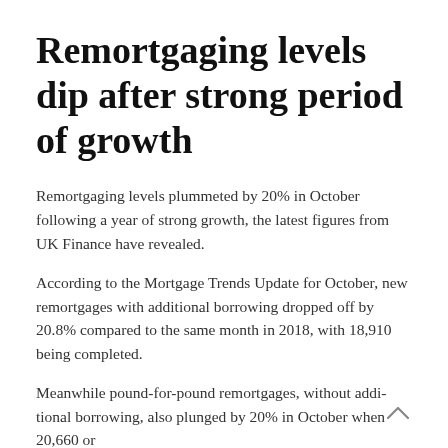Remortgaging levels dip after strong period of growth
Remortgaging levels plummeted by 20% in October following a year of strong growth, the latest figures from UK Finance have revealed.
According to the Mortgage Trends Update for October, new remortgages with additional borrowing dropped off by 20.8% compared to the same month in 2018, with 18,910 being completed.
Meanwhile pound-for-pound remortgages, without additional borrowing, also plunged by 20% in October when 20,660 or